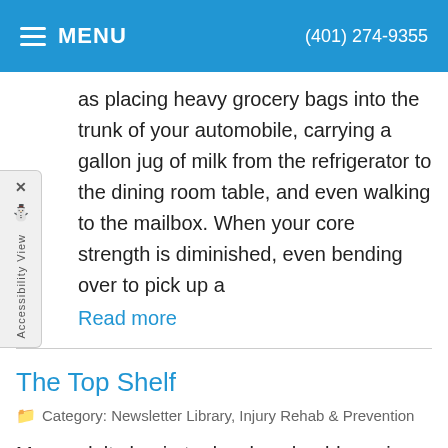MENU   (401) 274-9355
as placing heavy grocery bags into the trunk of your automobile, carrying a gallon jug of milk from the refrigerator to the dining room table, and even walking to the mailbox. When your core strength is diminished, even bending over to pick up a
Read more
The Top Shelf
Category: Newsletter Library, Injury Rehab & Prevention
Many adults begin to develop shoulder pain, even though they may not have sustained a specific injury. It's important to pay attention to such shoulder